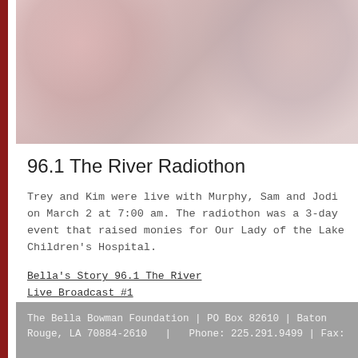[Figure (photo): Blurred/obscured photo, appears to show people, colors are pink and gray tones]
96.1 The River Radiothon
Trey and Kim were live with Murphy, Sam and Jodi on March 2 at 7:00 am. The radiothon was a 3-day event that raised monies for Our Lady of the Lake Children's Hospital.
Bella's Story 96.1 The River
Live Broadcast #1
Live Broadcast #2
Live Broadcast #3 (also includes Bella's story)
The Bella Bowman Foundation | PO Box 82610 | Baton Rouge, LA 70884-2610   |   Phone: 225.291.9499 | Fax: